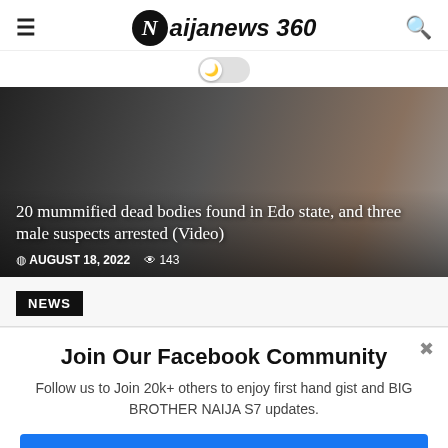Naijanews 360
[Figure (photo): News article hero image showing people with dark overlay. Article title: '20 mummified dead bodies found in Edo state, and three male suspects arrested (Video)'. Date: AUGUST 18, 2022. Views: 143.]
NEWS
Join Our Facebook Community
Follow us to Join 20k+ others to enjoy first hand gist and BIG BROTHER NAIJA S7 updates.
Follow & Turn On Post Notifications